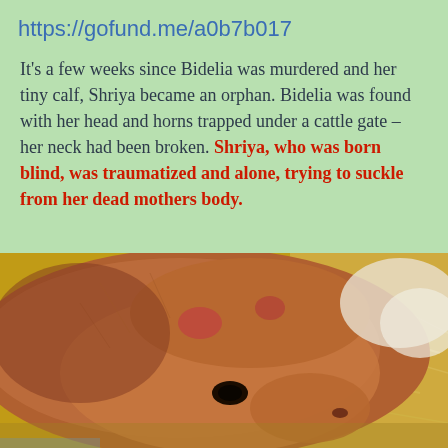https://gofund.me/a0b7b017
It's a few weeks since Bidelia was murdered and her tiny calf, Shriya became an orphan. Bidelia was found with her head and horns trapped under a cattle gate – her neck had been broken. Shriya, who was born blind, was traumatized and alone, trying to suckle from her dead mothers body.
[Figure (photo): Close-up photo of a young brown and white calf lying on straw/hay, with its face visible showing closed or downcast eyes.]